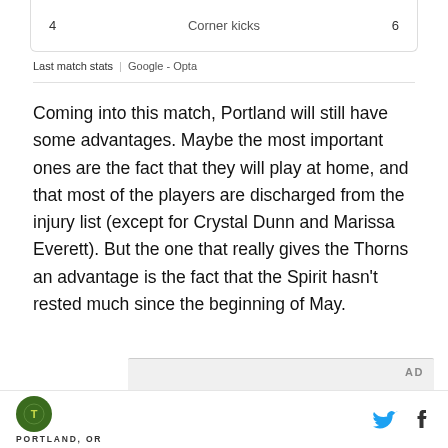| 4 | Corner kicks | 6 |
| --- | --- | --- |
Last match stats  |  Google - Opta
Coming into this match, Portland will still have some advantages. Maybe the most important ones are the fact that they will play at home, and that most of the players are discharged from the injury list (except for Crystal Dunn and Marissa Everett). But the one that really gives the Thorns an advantage is the fact that the Spirit hasn't rested much since the beginning of May.
[Figure (other): AD label placeholder box]
PORTLAND, OR